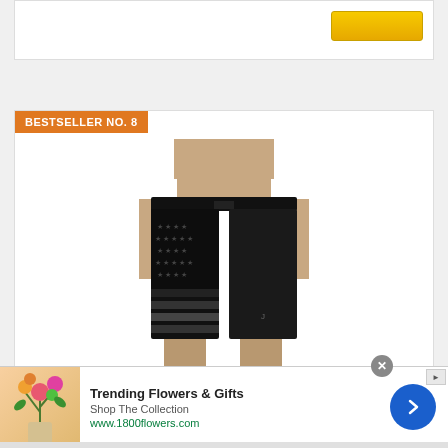[Figure (screenshot): Top card with add-to-cart button, partially visible]
BESTSELLER NO. 8
[Figure (photo): Man wearing Hurley Men's Phantom Patriot Cheers black board shorts with American flag stars and stripes pattern]
★★★★☆ (4.5 stars rating)
Hurley Men's Phantom Patriot Cheers
[Figure (illustration): Advertisement: Trending Flowers & Gifts - Shop The Collection - www.1800flowers.com, with flower bouquet image and blue arrow button]